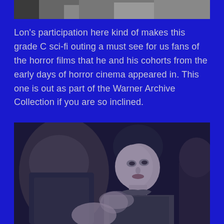[Figure (photo): Black and white photo, partial view at top of page — cropped figure, appears to be from a film]
Lon's participation here kind of makes this grade C sci-fi outing a must see for us fans of the horror films that he and his cohorts from the early days of horror cinema appeared in. This one is out as part of the Warner Archive Collection if you are so inclined.
[Figure (photo): Black and white still from a film showing a young woman with short dark hair looking toward the camera, with other figures around her]